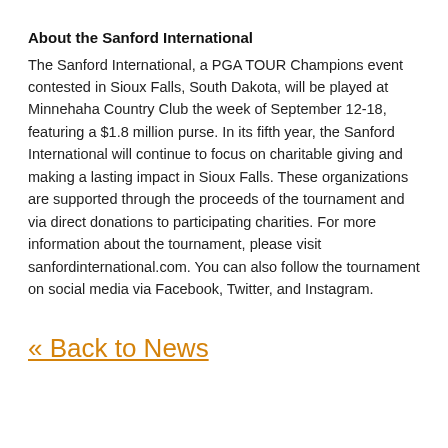About the Sanford International
The Sanford International, a PGA TOUR Champions event contested in Sioux Falls, South Dakota, will be played at Minnehaha Country Club the week of September 12-18, featuring a $1.8 million purse. In its fifth year, the Sanford International will continue to focus on charitable giving and making a lasting impact in Sioux Falls. These organizations are supported through the proceeds of the tournament and via direct donations to participating charities. For more information about the tournament, please visit sanfordinternational.com. You can also follow the tournament on social media via Facebook, Twitter, and Instagram.
« Back to News